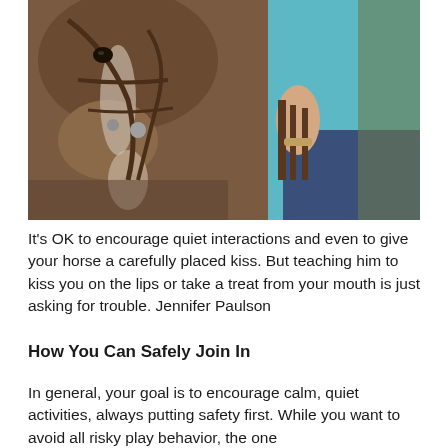[Figure (photo): A person in a teal/turquoise shirt and jeans holding leather reins, standing close to a brown horse's head. The horse is wearing a bridle.]
It's OK to encourage quiet interactions and even to give your horse a carefully placed kiss. But teaching him to kiss you on the lips or take a treat from your mouth is just asking for trouble. Jennifer Paulson
How You Can Safely Join In
In general, your goal is to encourage calm, quiet activities, always putting safety first. While you want to avoid all risky play behavior, the one